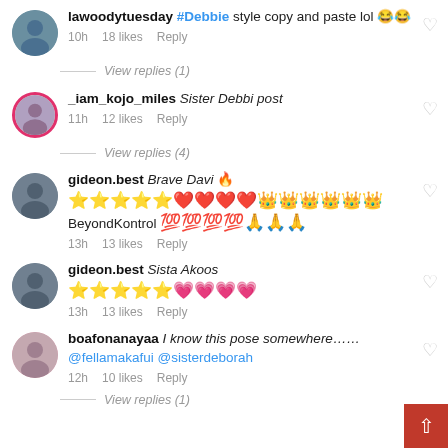lawoodytuesday #Debbie style copy and paste lol 😂😂
10h   18 likes   Reply
_iam_kojo_miles Sister Debbi post
11h   12 likes   Reply
View replies (4)
gideon.best Brave Davi 🔥
⭐⭐⭐⭐⭐❤️❤️❤️❤️👑👑👑👑👑👑
BeyondKontrol 💯💯💯💯🙏🙏🙏
13h   13 likes   Reply
gideon.best Sista Akoos
⭐⭐⭐⭐⭐💗💗💗💗
13h   13 likes   Reply
boafonanayaa I know this pose somewhere……@fellamakafui @sisterdeborah
12h   10 likes   Reply
View replies (1)